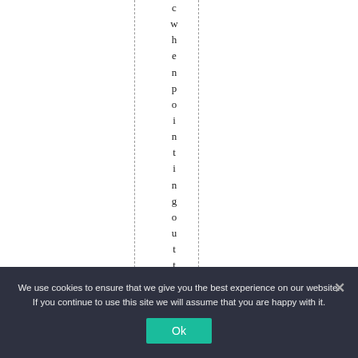c w h e n p o i n t i n g o u t t h e
We use cookies to ensure that we give you the best experience on our website. If you continue to use this site we will assume that you are happy with it.